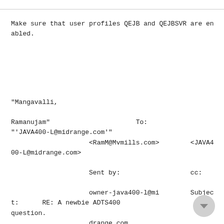Make sure that user profiles QEJB and QEJBSVR are enabled.
"Mangavalli,

Ramanujam"                        To:
"'JAVA400-L@midrange.com'"
                    <RamM@Mvmills.com>        <JAVA400-L@midrange.com>

                    Sent by:                  cc:

                    owner-java400-l@mi        Subject:
      RE: A newbie ADTS400 question.
                    drange.com